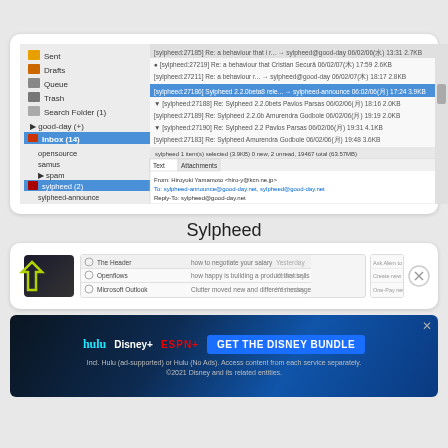[Figure (screenshot): Screenshot of Sylpheed email client showing folder tree on left and email list/preview pane on right with email headers and message body visible]
Sylpheed
[Figure (screenshot): Partial screenshot of another email/app interface showing a dark square logo, navigation arrow icon, list of items including 'The Header', 'Openflows', 'Microsoft Outlook', and a close button on the right]
[Figure (screenshot): Advertisement banner for Disney Bundle featuring Hulu, Disney+, and ESPN+ logos with text 'GET THE DISNEY BUNDLE', fine print: 'Incl. Hulu (ad-supported) or Hulu (No Ads). Access content from each service separately. ©2021 Disney and its related entities.']